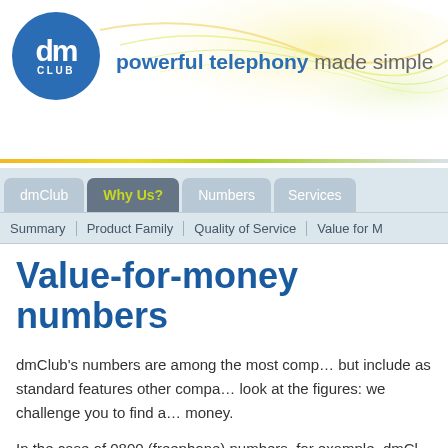[Figure (logo): dm CLUB logo — blue circle with white dm text and CLUB below]
powerful telephony made simple
dmClub
Why Us?
Numbers
Services
Summary | Product Family | Quality of Service | Value for Mo…
Value-for-money numbers
dmClub's numbers are among the most comp… but include as standard features other compa… look at the figures: we challenge you to find a… money.
In the case of 0800 (freephone) numbers, for example, dmCl…